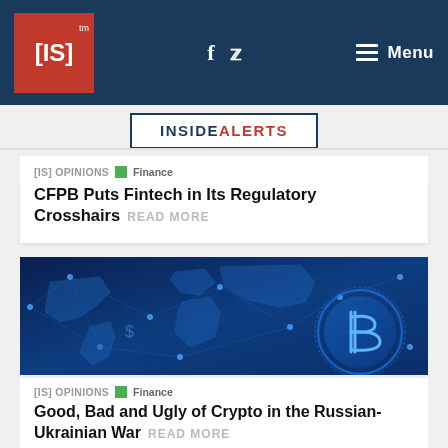[IS]™ f 🐦 Menu
INSIDE ALERTS
[IS] OPINIONS  Finance
CFPB Puts Fintech in Its Regulatory Crosshairs READ MORE
[Figure (illustration): Blue digital world map with cryptocurrency bitcoin coin overlay, network connections lines on dark blue background]
[IS] OPINIONS  Finance
Good, Bad and Ugly of Crypto in the Russian-Ukrainian War READ MORE